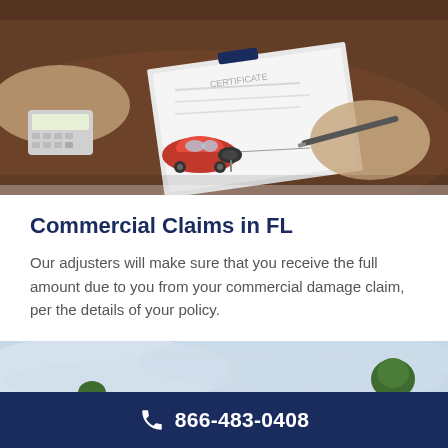[Figure (photo): Person signing a document on a clipboard over a wooden desk, with a red toy car, car keys, and a calculator visible. Another person's hands are resting on the desk in the background.]
Commercial Claims in FL
Our adjusters will make sure that you receive the full amount due to you from your commercial damage claim, per the details of your policy.
[Figure (photo): Outdoor landscape with overcast sky and a tree on the right side.]
866-483-0408